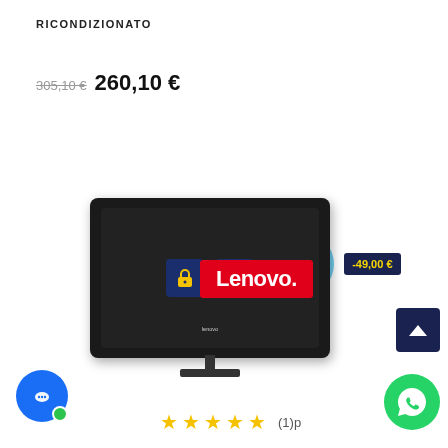RICONDIZIONATO
305,10 € 260,10 €
[Figure (infographic): Product listing showing Intel Core i5 badge, 8GB DDR3 RAM badge, Windows 10 badge, -49,00€ discount badge, Lenovo all-in-one desktop PC product image with lock and eye icons on screen, Lenovo brand logo, scroll-to-top button, chat button, WhatsApp button]
★★★★★ (1)p